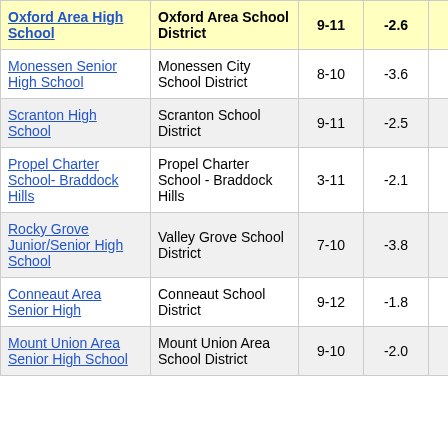| School | District | Grades | Value |  |
| --- | --- | --- | --- | --- |
| Oxford Area High School | Oxford Area School District | 9-11 | -2.6 |  |
| Monessen Senior High School | Monessen City School District | 8-10 | -3.6 |  |
| Scranton High School | Scranton School District | 9-11 | -2.5 |  |
| Propel Charter School- Braddock Hills | Propel Charter School - Braddock Hills | 3-11 | -2.1 |  |
| Rocky Grove Junior/Senior High School | Valley Grove School District | 7-10 | -3.8 |  |
| Conneaut Area Senior High | Conneaut School District | 9-12 | -1.8 |  |
| Mount Union Area Senior High School | Mount Union Area School District | 9-10 | -2.0 |  |